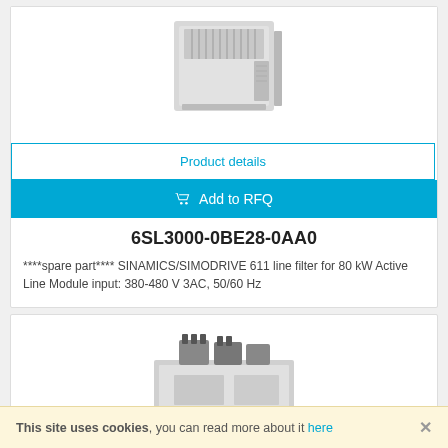[Figure (photo): Siemens industrial line filter unit, gray box with ventilation grille on top]
Product details
Add to RFQ
6SL3000-0BE28-0AA0
****spare part**** SINAMICS/SIMODRIVE 611 line filter for 80 kW Active Line Module input: 380-480 V 3AC, 50/60 Hz
[Figure (photo): Siemens electrical module or contactor unit, gray with visible terminals and components]
This site uses cookies, you can read more about it here